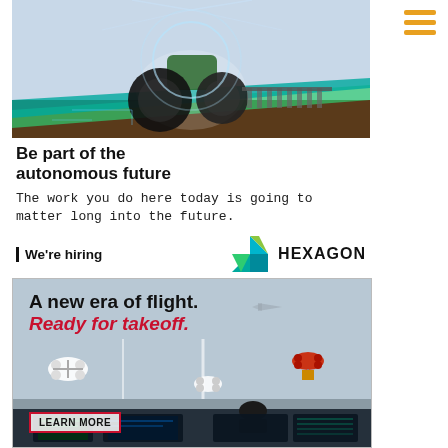[Figure (photo): Top advertisement banner showing an autonomous tractor with digital overlay / futuristic agricultural technology imagery]
Be part of the autonomous future
The work you do here today is going to matter long into the future.
| We're hiring
[Figure (logo): Hexagon company logo — stylized diamond/arrow shape in teal and green with HEXAGON wordmark]
[Figure (photo): Bottom advertisement for aviation/drone technology: 'A new era of flight. Ready for takeoff.' showing drones and air traffic control room with LEARN MORE button]